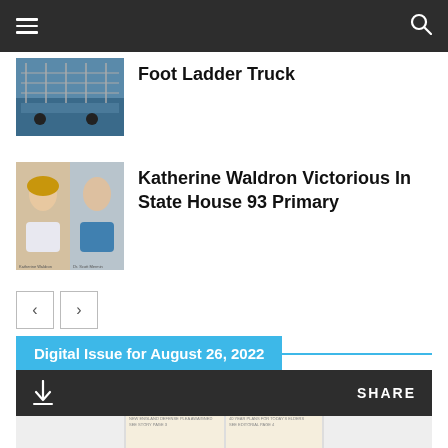Navigation bar with menu and search icons
Foot Ladder Truck
Katherine Waldron Victorious In State House 93 Primary
Pagination: previous and next buttons
Digital Issue for August 26, 2022
[Figure (screenshot): Digital issue viewer with download and share controls and a preview of the newspaper page]